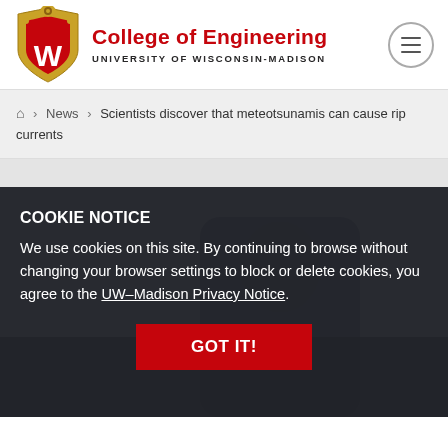[Figure (logo): University of Wisconsin-Madison College of Engineering logo with shield]
College of Engineering UNIVERSITY OF WISCONSIN-MADISON
🏠 > News > Scientists discover that meteotsunamis can cause rip currents
COOKIE NOTICE
We use cookies on this site. By continuing to browse without changing your browser settings to block or delete cookies, you agree to the UW–Madison Privacy Notice.
GOT IT!